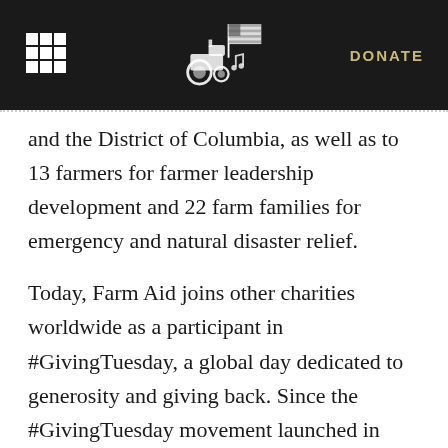DONATE
and the District of Columbia, as well as to 13 farmers for farmer leadership development and 22 farm families for emergency and natural disaster relief.
Today, Farm Aid joins other charities worldwide as a participant in #GivingTuesday, a global day dedicated to generosity and giving back. Since the #GivingTuesday movement launched in 2012, more than 30,000 organizations in 68 countries have come together to celebrate and support philanthropy across the world.